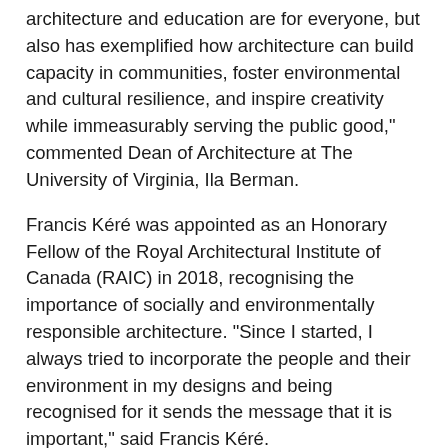architecture and education are for everyone, but also has exemplified how architecture can build capacity in communities, foster environmental and cultural resilience, and inspire creativity while immeasurably serving the public good," commented Dean of Architecture at The University of Virginia, Ila Berman.
Francis Kéré was appointed as an Honorary Fellow of the Royal Architectural Institute of Canada (RAIC) in 2018, recognising the importance of socially and environmentally responsible architecture. “Since I started, I always tried to incorporate the people and their environment in my designs and being recognised for it sends the message that it is important,” said Francis Kéré.
He was named in the 100 Most Influential People of 2022 by Time Magazine. The citation by David Adjaye stated that “Francis Kéré has built a career out of making places that have a transformative impact on the way in which communities and societies see and serve themselves. He is a trailblazer for his long-standing commitment to formalizing space for both social and environmental good, and both he and his work demonstrate that architecture is